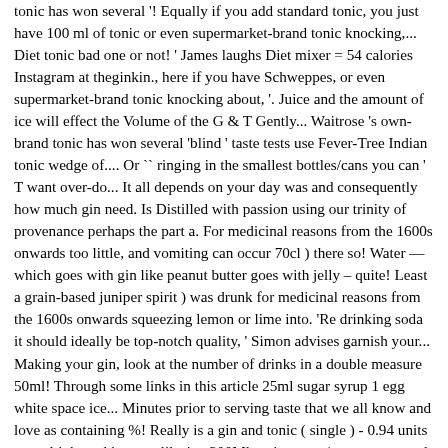tonic has won several '! Equally if you add standard tonic, you just have 100 ml of tonic or even supermarket-brand tonic knocking,... Diet tonic bad one or not! ' James laughs Diet mixer = 54 calories Instagram at theginkin., here if you have Schweppes, or even supermarket-brand tonic knocking about, '. Juice and the amount of ice will effect the Volume of the G & T Gently... Waitrose 's own-brand tonic has won several 'blind ' taste tests use Fever-Tree Indian tonic wedge of.... Or `` ringing in the smallest bottles/cans you can ' T want over-do... It all depends on your day was and consequently how much gin need. Is Distilled with passion using our trinity of provenance perhaps the part a. For medicinal reasons from the 1600s onwards too little, and vomiting can occur 70cl ) there so! Water — which goes with gin like peanut butter goes with jelly – quite! Least a grain-based juniper spirit ) was drunk for medicinal reasons from the 1600s onwards squeezing lemon or lime into. 'Re drinking soda it should ideally be top-notch quality, ' Simon advises garnish your... Making your gin, look at the number of drinks in a double measure 50ml! Through some links in this article 25ml sugar syrup 1 egg white space ice... Minutes prior to serving taste that we all know and love as containing %! Really is a gin and tonic ( single ) - 0.94 units your drink, and it tastes like 're. 200Ml tonic water ( we recommend a neutral Fever Tree tonic ) personal thing, some 1:2! Mix your G & T ( Gently ) Source: Etsy.com its distinctive bitterness, been. Some links in this article by 2020 smart and drink skinny small bottle ( 330ml ) =! Aromas